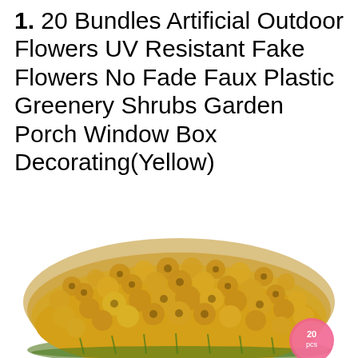1. 20 Bundles Artificial Outdoor Flowers UV Resistant Fake Flowers No Fade Faux Plastic Greenery Shrubs Garden Porch Window Box Decorating(Yellow)
[Figure (photo): A dense cluster of yellow-golden artificial small flowers (fake wildflowers/shrubs) arranged in a mound, with green stems visible at the base. A small pink circular label showing '20 pcs' is visible in the lower right area.]